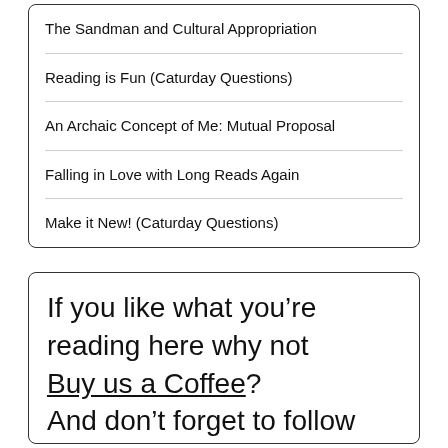The Sandman and Cultural Appropriation
Reading is Fun (Caturday Questions)
An Archaic Concept of Me: Mutual Proposal
Falling in Love with Long Reads Again
Make it New! (Caturday Questions)
If you like what you’re reading here why not Buy us a Coffee? And don’t forget to follow and